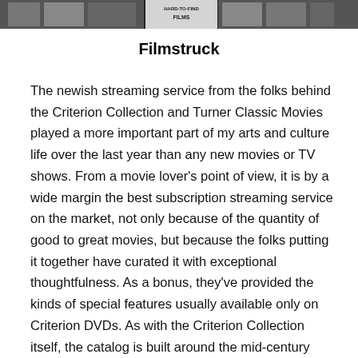[Figure (photo): Strip of film-related images at the top of the page, partially cropped, with a 'Hard-to-Find Films' label visible in the center.]
Filmstruck
The newish streaming service from the folks behind the Criterion Collection and Turner Classic Movies played a more important part of my arts and culture life over the last year than any new movies or TV shows. From a movie lover's point of view, it is by a wide margin the best subscription streaming service on the market, not only because of the quantity of good to great movies, but because the folks putting it together have curated it with exceptional thoughtfulness. As a bonus, they've provided the kinds of special features usually available only on Criterion DVDs. As with the Criterion Collection itself, the catalog is built around the mid-century canon of art house classics — Bergman, Kurosawa, Ozu, Fellini, Godard —